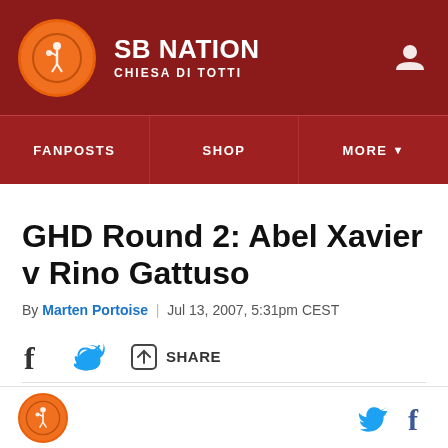SB NATION — CHIESA DI TOTTI
FANPOSTS | SHOP | MORE
GHD Round 2: Abel Xavier v Rino Gattuso
By Marten Portoise | Jul 13, 2007, 5:31pm CEST
Share options: Facebook, Twitter, Share